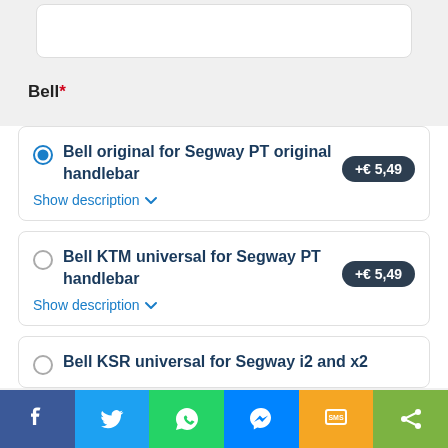Bell*
Bell original for Segway PT original handlebar +€ 5,49
Bell KTM universal for Segway PT handlebar +€ 5,49
Bell KSR universal for Segway i2 and x2
[Figure (screenshot): Social sharing bottom bar with Facebook, Twitter, WhatsApp, Messenger, SMS, and share icons]